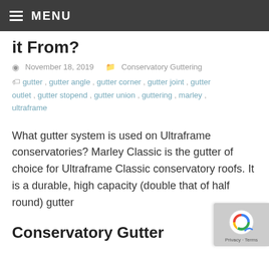MENU
it From?
November 18, 2019    Conservatory Guttering
gutter , gutter angle , gutter corner , gutter joint , gutter outlet , gutter stopend , gutter union , guttering , marley , ultraframe
What gutter system is used on Ultraframe conservatories? Marley Classic is the gutter of choice for Ultraframe Classic conservatory roofs. It is a durable, high capacity (double that of half round) gutter
Conservatory Gutter